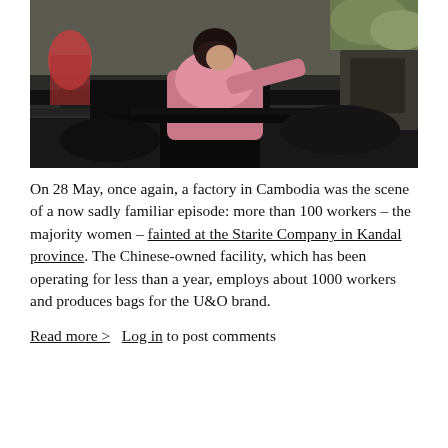[Figure (photo): A female garment factory worker in a pink jacket leans over industrial sewing machinery in a Cambodian clothing factory. Other workers visible in background.]
On 28 May, once again, a factory in Cambodia was the scene of a now sadly familiar episode: more than 100 workers – the majority women – fainted at the Starite Company in Kandal province. The Chinese-owned facility, which has been operating for less than a year, employs about 1000 workers and produces bags for the U&O brand.
Read more >  Log in to post comments